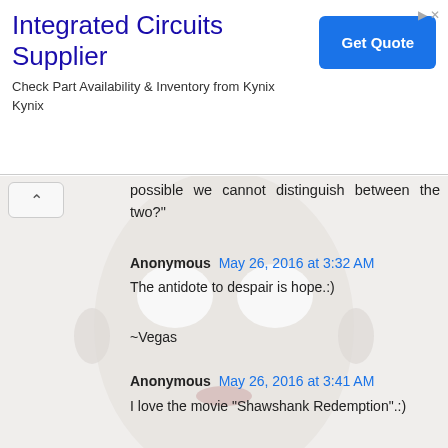[Figure (infographic): Advertisement banner for 'Integrated Circuits Supplier' from Kynix, with a blue 'Get Quote' button and navigation arrows]
possible we cannot distinguish between the two?"
[Figure (photo): Background image of a white blank face/mask]
Anonymous May 26, 2016 at 3:32 AM
The antidote to despair is hope.:)
~Vegas
Anonymous May 26, 2016 at 3:41 AM
I love the movie "Shawshank Redemption".:)
There are so many great quotes, in that movie.:)
This is a great conversation in the movie, between Tim Robbins (who played Andy) and